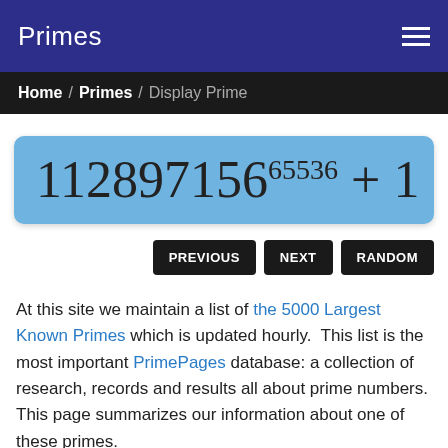Primes
Home / Primes / Display Prime
At this site we maintain a list of the 5000 Largest Known Primes which is updated hourly. This list is the most important PrimePages database: a collection of research, records and results all about prime numbers. This page summarizes our information about one of these primes.
This prime's information